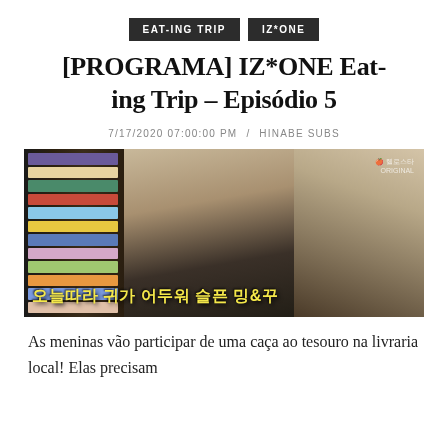EAT-ING TRIP | IZ*ONE
[PROGRAMA] IZ*ONE Eating Trip - Episódio 5
7/17/2020 07:00:00 PM / HINABE SUBS
[Figure (screenshot): Screenshot from IZ*ONE Eating Trip episode 5 showing two girls in a library/bookstore with stairs and bookshelves. Korean subtitle text reads: 오늘따라 귀가 어두워 슬픈 밍&꾸]
As meninas vão participar de uma caça ao tesouro na livraria local! Elas precisam